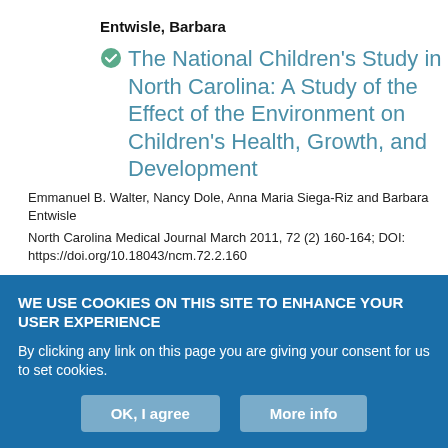Entwisle, Barbara
The National Children's Study in North Carolina: A Study of the Effect of the Environment on Children's Health, Growth, and Development
Emmanuel B. Walter, Nancy Dole, Anna Maria Siega-Riz and Barbara Entwisle
North Carolina Medical Journal March 2011, 72 (2) 160-164; DOI: https://doi.org/10.18043/ncm.72.2.160
Evenson, Kelly R.
WE USE COOKIES ON THIS SITE TO ENHANCE YOUR USER EXPERIENCE
By clicking any link on this page you are giving your consent for us to set cookies.